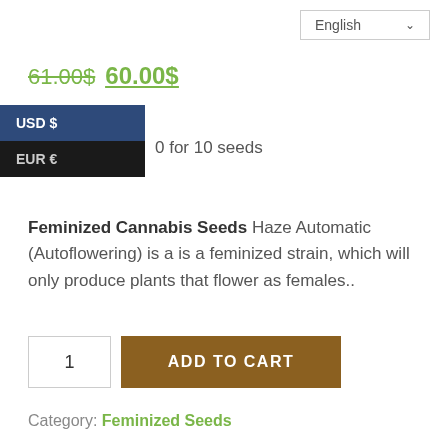English ∨
61.00$ 60.00$
USD $
EUR €
0 for 10 seeds
Feminized Cannabis Seeds Haze Automatic (Autoflowering) is a is a feminized strain, which will only produce plants that flower as females..
1
ADD TO CART
Category: Feminized Seeds